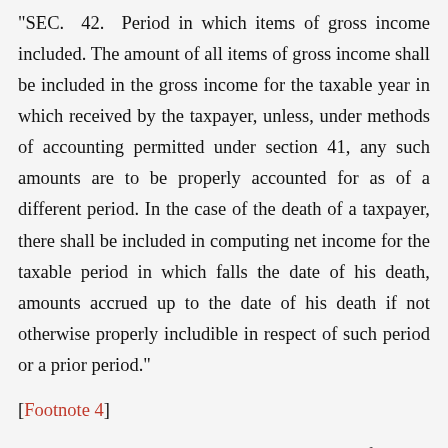"SEC. 42. Period in which items of gross income included. The amount of all items of gross income shall be included in the gross income for the taxable year in which received by the taxpayer, unless, under methods of accounting permitted under section 41, any such amounts are to be properly accounted for as of a different period. In the case of the death of a taxpayer, there shall be included in computing net income for the taxable period in which falls the date of his death, amounts accrued up to the date of his death if not otherwise properly includible in respect of such period or a prior period."
[Footnote 4]
August 28, 1939, by memorandum opinion. Cf. Lillian O. Fehrman, Executrix, 38 B.T.A. 37.
[Footnote 5]